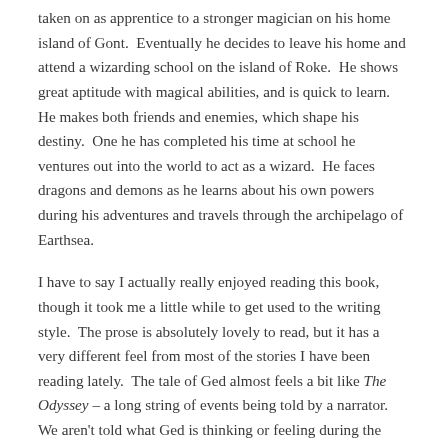taken on as apprentice to a stronger magician on his home island of Gont.  Eventually he decides to leave his home and attend a wizarding school on the island of Roke.  He shows great aptitude with magical abilities, and is quick to learn.  He makes both friends and enemies, which shape his destiny.  One he has completed his time at school he ventures out into the world to act as a wizard.  He faces dragons and demons as he learns about his own powers during his adventures and travels through the archipelago of Earthsea.
I have to say I actually really enjoyed reading this book, though it took me a little while to get used to the writing style.  The prose is absolutely lovely to read, but it has a very different feel from most of the stories I have been reading lately.  The tale of Ged almost feels a bit like The Odyssey – a long string of events being told by a narrator.  We aren't told what Ged is thinking or feeling during the course of the story, we are just allowed to